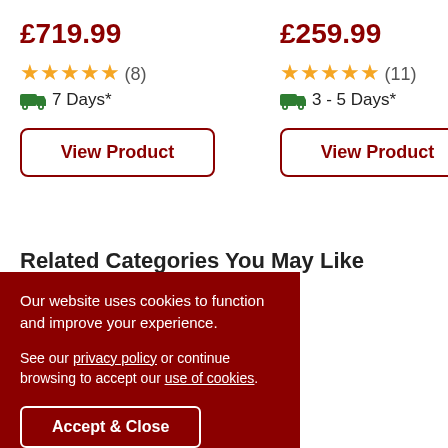£719.99
★★★★★ (8)
7 Days*
View Product
£259.99
★★★★★ (11)
3 - 5 Days*
View Product
Related Categories You May Like
Our website uses cookies to function and improve your experience.

See our privacy policy or continue browsing to accept our use of cookies.
Accept & Close